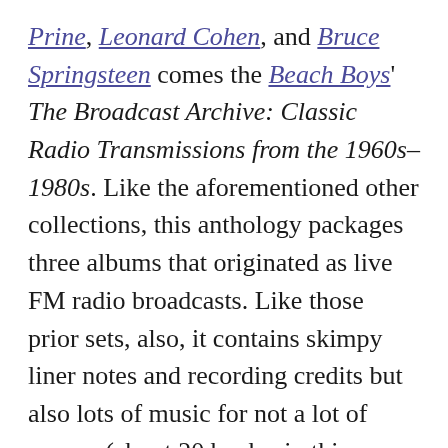Prine, Leonard Cohen, and Bruce Springsteen comes the Beach Boys' The Broadcast Archive: Classic Radio Transmissions from the 1960s–1980s. Like the aforementioned other collections, this anthology packages three albums that originated as live FM radio broadcasts. Like those prior sets, also, it contains skimpy liner notes and recording credits but also lots of music for not a lot of money (about 20 bucks, in this case, last time I checked). There was no shortage of live Beach Boys material before this collection arrived, but there's no such thing as too much Beach Boys.